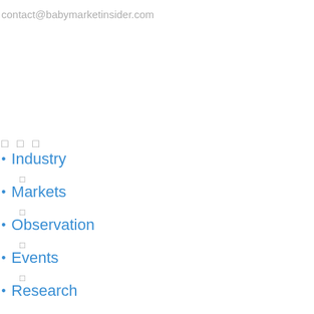contact@babymarketinsider.com
□ □ □
Industry
Markets
Observation
Events
Research